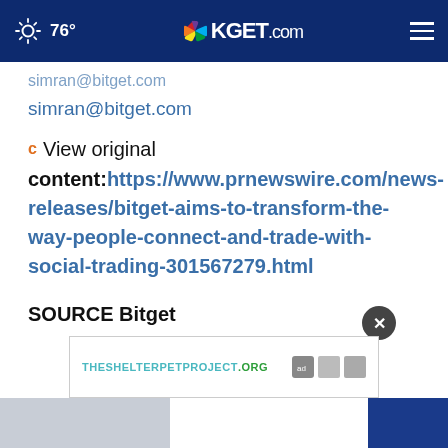76° KGET.com
simran@bitget.com
View original content:https://www.prnewswire.com/news-releases/bitget-aims-to-transform-the-way-people-connect-and-trade-with-social-trading-301567279.html
SOURCE Bitget
[Figure (screenshot): Advertisement banner for THESHELTERPETPROJECT.ORG with ad badges and a close button]